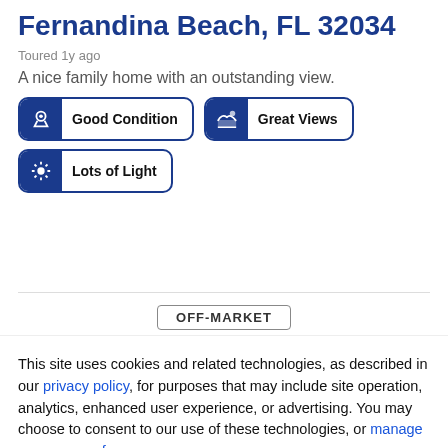Fernandina Beach, FL 32034
Toured 1y ago
A nice family home with an outstanding view.
Good Condition
Great Views
Lots of Light
OFF-MARKET
This site uses cookies and related technologies, as described in our privacy policy, for purposes that may include site operation, analytics, enhanced user experience, or advertising. You may choose to consent to our use of these technologies, or manage your own preferences.
Decline
Accept